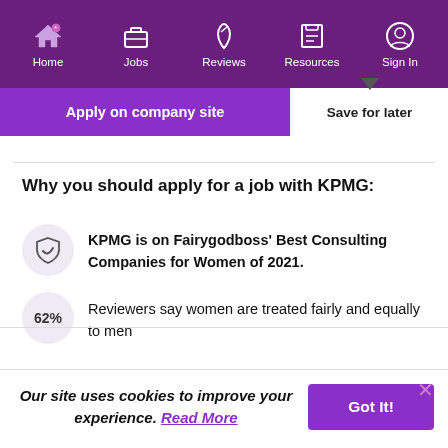Home | Jobs | Reviews | Resources | Sign In
Apply on company site
Save for later
Why you should apply for a job with KPMG:
KPMG is on Fairygodboss' Best Consulting Companies for Women of 2021.
62% Reviewers say women are treated fairly and equally to men
Our site uses cookies to improve your experience. Read More